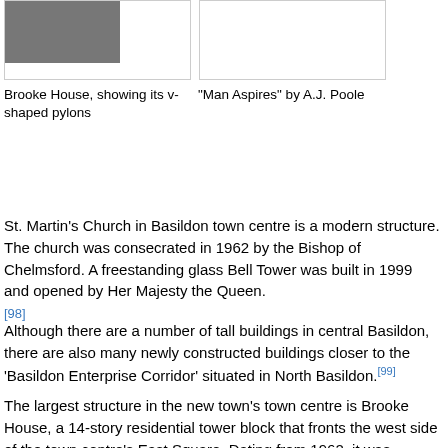[Figure (photo): Photo of Brooke House showing v-shaped pylons, partially visible at top left]
[Figure (photo): Empty image box on the right, likely showing 'Man Aspires' by A.J. Poole]
Brooke House, showing its v-shaped pylons
"Man Aspires" by A.J. Poole
St. Martin's Church in Basildon town centre is a modern structure. The church was consecrated in 1962 by the Bishop of Chelmsford. A freestanding glass Bell Tower was built in 1999 and opened by Her Majesty the Queen.[98]
Although there are a number of tall buildings in central Basildon, there are also many newly constructed buildings closer to the 'Basildon Enterprise Corridor' situated in North Basildon.[99]
The largest structure in the new town's town centre is Brooke House, a 14-story residential tower block that fronts the west side of the town centre's East Square. Dating from 1962, it was designed by Sir Basil Spence